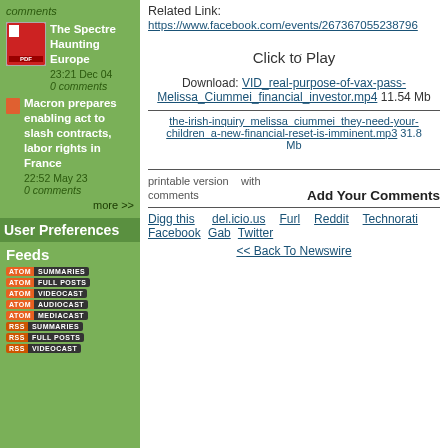comments
The Spectre Haunting Europe 23:21 Dec 04
0 comments
Macron prepares enabling act to slash contracts, labor rights in France 22:52 May 23
0 comments
more >>
User Preferences
Feeds
Related Link: https://www.facebook.com/events/267367055238796
Click to Play
Download: VID_real-purpose-of-vax-pass-Melissa_Ciummei_financial_investor.mp4 11.54 Mb
the-irish-inquiry_melissa_ciummei_they-need-your-children_a-new-financial-reset-is-imminent.mp3 31.8 Mb
printable version   with comments
Add Your Comments
Digg this   del.icio.us   Furl   Reddit   Technorati   Facebook  Gab  Twitter
<< Back To Newswire